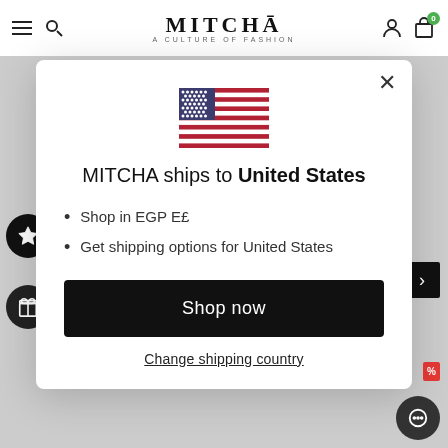MITCHA — A CULTURE OF FASHION
[Figure (screenshot): MITCHA fashion website with modal popup for country selection. US flag shown. Text: MITCHA ships to United States. Shop in EGP E£. Get shipping options for United States. Shop now button. Change shipping country link.]
MITCHA ships to United States
Shop in EGP E£
Get shipping options for United States
Shop now
Change shipping country